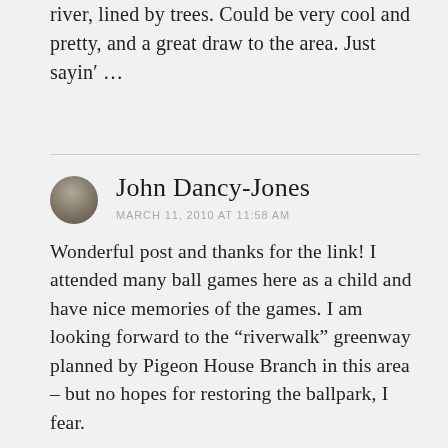river, lined by trees. Could be very cool and pretty, and a great draw to the area. Just sayin' …
John Dancy-Jones
MARCH 11, 2010 AT 11:58 AM
Wonderful post and thanks for the link! I attended many ball games here as a child and have nice memories of the games. I am looking forward to the “riverwalk” greenway planned by Pigeon House Branch in this area – but no hopes for restoring the ballpark, I fear.